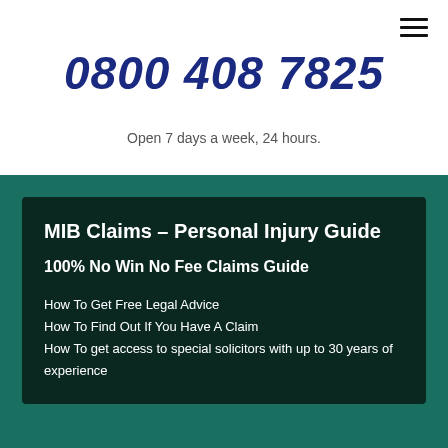[Figure (other): Hamburger menu icon with three horizontal lines in top-right corner]
0800 408 7825
Open 7 days a week, 24 hours.
MIB Claims – Personal Injury Guide
100% No Win No Fee Claims Guide
How To Get Free Legal Advice
How To Find Out If You Have A Claim
How To get access to special solicitors with up to 30 years of experience